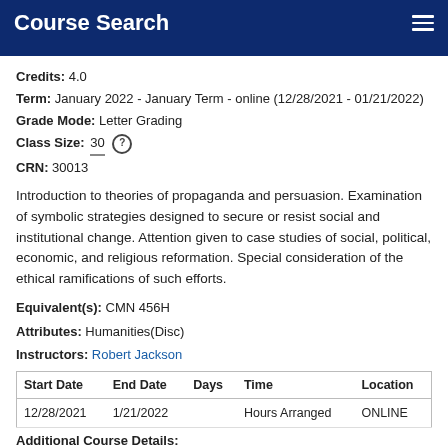Course Search
Credits: 4.0
Term: January 2022 - January Term - online (12/28/2021 - 01/21/2022)
Grade Mode: Letter Grading
Class Size: 30
CRN: 30013
Introduction to theories of propaganda and persuasion. Examination of symbolic strategies designed to secure or resist social and institutional change. Attention given to case studies of social, political, economic, and religious reformation. Special consideration of the ethical ramifications of such efforts.
Equivalent(s): CMN 456H
Attributes: Humanities(Disc)
Instructors: Robert Jackson
| Start Date | End Date | Days | Time | Location |
| --- | --- | --- | --- | --- |
| 12/28/2021 | 1/21/2022 |  | Hours Arranged | ONLINE |
Additional Course Details: